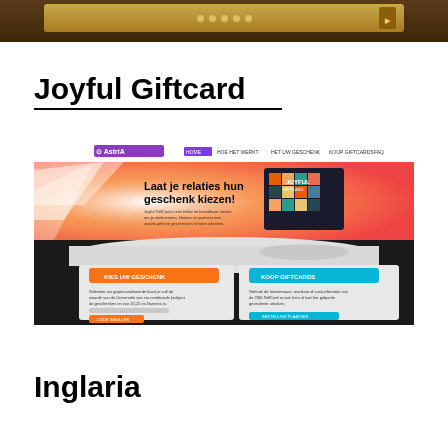[Figure (screenshot): Screenshot of a wooden-themed website header with a golden bar and dots]
Joyful Giftcard
[Figure (screenshot): Screenshot of the Joyful Giftcard website powered by Astria, showing a colorful orange website with text 'Laat je relaties hun geschenk kiezen!' and a colorful mosaic gift card image, plus two sections: 'KIES UW GESCHENK' (orange button) and 'KOOP GIFTCARDS' (teal button)]
Inglaria